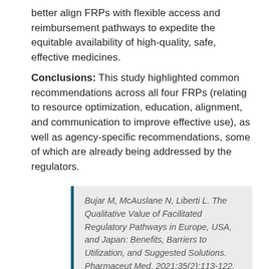better align FRPs with flexible access and reimbursement pathways to expedite the equitable availability of high-quality, safe, effective medicines.
Conclusions: This study highlighted common recommendations across all four FRPs (relating to resource optimization, education, alignment, and communication to improve effective use), as well as agency-specific recommendations, some of which are already being addressed by the regulators.
Bujar M, McAuslane N, Liberti L. The Qualitative Value of Facilitated Regulatory Pathways in Europe, USA, and Japan: Benefits, Barriers to Utilization, and Suggested Solutions. Pharmaceut Med. 2021;35(2):113-122. doi:10.1007/s40290-020-00372-7